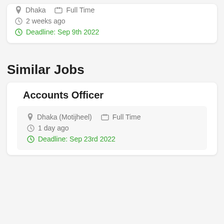Dhaka   Full Time
2 weeks ago
Deadline: Sep 9th 2022
Similar Jobs
Accounts Officer
Dhaka (Motijheel)   Full Time
1 day ago
Deadline: Sep 23rd 2022